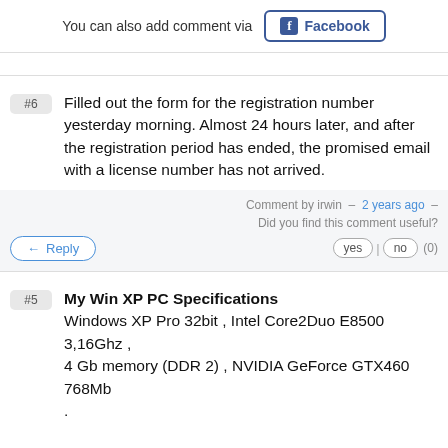You can also add comment via  Facebook
#6  Filled out the form for the registration number yesterday morning. Almost 24 hours later, and after the registration period has ended, the promised email with a license number has not arrived.
Comment by irwin – 2 years ago – Did you find this comment useful?
Reply  yes | no (0)
#5  My Win XP PC Specifications
Windows XP Pro 32bit , Intel Core2Duo E8500 3,16Ghz ,
4 Gb memory (DDR 2) , NVIDIA GeForce GTX460 768Mb
.

Downloaded and installed without a problem .
It doesn't work under Windows XP .